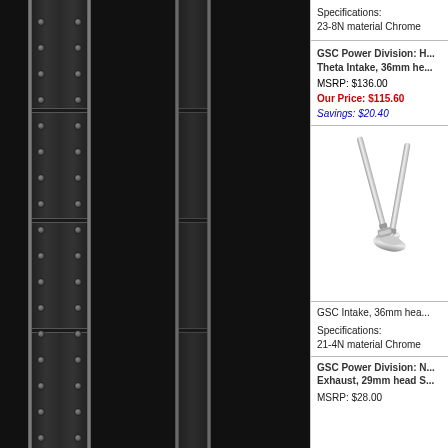Specifications:
23-8N material Chrome
GSC Power Division: Hyper Theta Intake, 36mm he...
MSRP: $136.00
Our Price: $115.60
Savings: $20.40
[Figure (photo): Chrome engine intake/exhaust valves, two valves crossed, silver metallic finish]
GSC Intake, 36mm hea...
Specifications:
21-4N material Chrome
GSC Power Division: N... Exhaust, 29mm head S...
MSRP: $28.00